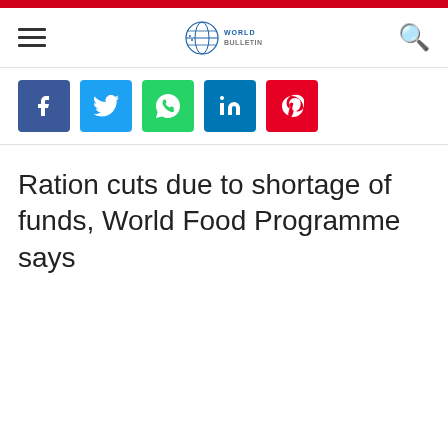World Bulletin
[Figure (logo): World Bulletin globe logo with text]
Ration cuts due to shortage of funds, World Food Programme says